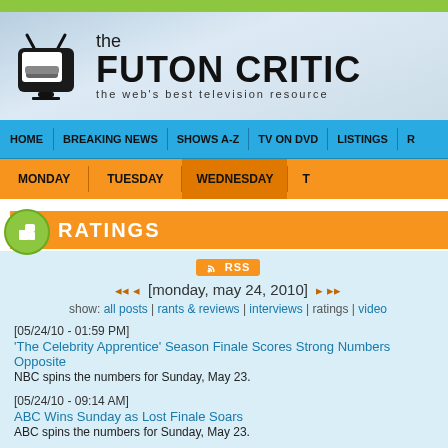the FUTON CRITIC - the web's best television resource
HOME | BREAKING NEWS | SHOWS A-Z | TV ON DVD | LISTINGS
MONDAY | TUESDAY | WEDNESDAY | T...
RATINGS
RSS
[monday, may 24, 2010]
show: all posts | rants & reviews | interviews | ratings | video
[05/24/10 - 01:59 PM]
'The Celebrity Apprentice' Season Finale Scores Strong Numbers Opposite NBC spins the numbers for Sunday, May 23.
[05/24/10 - 09:14 AM]
ABC Wins Sunday as Lost Finale Soars
ABC spins the numbers for Sunday, May 23.